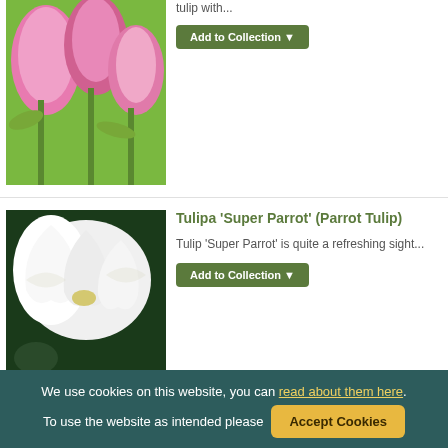[Figure (photo): Partial view of pink tulips in a garden, cropped at top of page]
tulip with...
Add to Collection
[Figure (photo): White parrot tulip flowers with ruffled petals against dark green foliage]
Tulipa 'Super Parrot' (Parrot Tulip)
Tulip 'Super Parrot' is quite a refreshing sight...
Add to Collection
[Figure (photo): Partial view of another tulip variety, cropped at bottom of page]
Tulipa 'Spring Green'
We use cookies on this website, you can read about them here. To use the website as intended please Accept Cookies